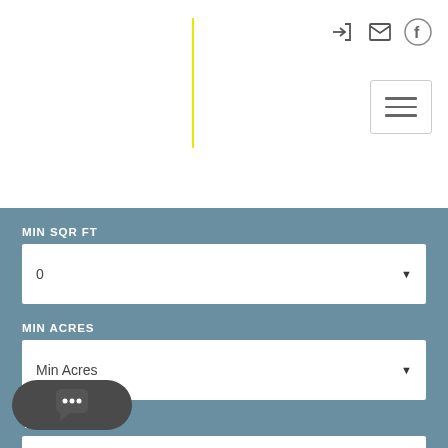[Figure (screenshot): Website header with yellow vertical line accent and navigation icons (login, email, Facebook) plus hamburger menu button in top right]
MIN SQR FT
0
MIN ACRES
Min Acres
YEAR BUILT
Any
MAX YEAR BUILT
[Figure (screenshot): Chat widget button with three dots speech bubble icon]